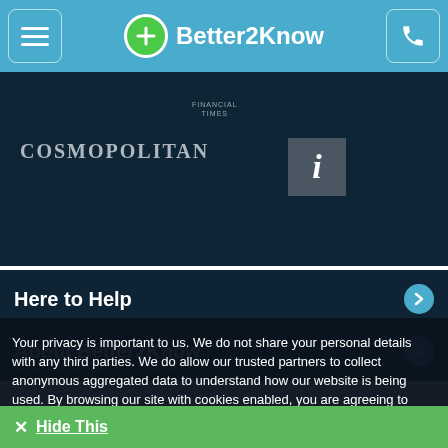Better2Know
[Figure (logo): Financial Times logo text partial]
[Figure (logo): Cosmopolitan magazine logo]
[Figure (logo): Info icon box with letter i]
Here to Help
About Better2Know
Our Medical Director
Your privacy is important to us. We do not share your personal details with any third parties. We do allow our trusted partners to collect anonymous aggregated data to understand how our website is being used. By browsing our site with cookies enabled, you are agreeing to their use. You can learn about our Cookie Policy here.
✕  Hide This